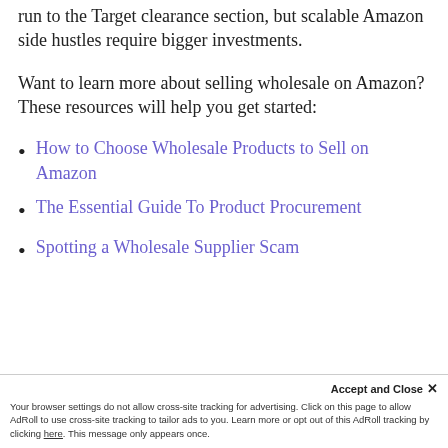run to the Target clearance section, but scalable Amazon side hustles require bigger investments.
Want to learn more about selling wholesale on Amazon? These resources will help you get started:
How to Choose Wholesale Products to Sell on Amazon
The Essential Guide To Product Procurement
Spotting a Wholesale Supplier Scam
Accept and Close ✕ Your browser settings do not allow cross-site tracking for advertising. Click on this page to allow AdRoll to use cross-site tracking to tailor ads to you. Learn more or opt out of this AdRoll tracking by clicking here. This message only appears once.